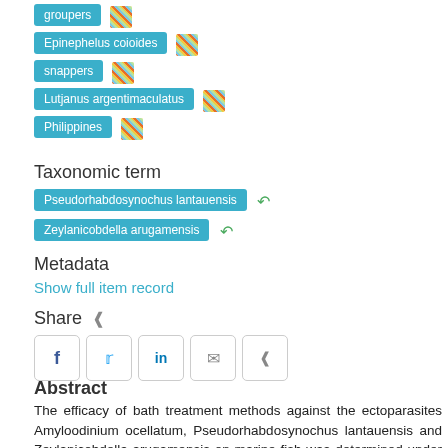groupers
Epinephelus coioides
snappers
Lutjanus argentimaculatus
Philippines
Taxonomic term
Pseudorhabdosynochus lantauensis
Zeylanicobdella arugamensis
Metadata
Show full item record
Share
Abstract
The efficacy of bath treatment methods against the ectoparasites Amyloodinium ocellatum, Pseudorhabdosynochus lantauensis and Zeylanicobdella arugamensis on marine fish was determined under laboratory conditions. The toxicity of formalin and hydrogen peroxide (H₂O₂) to groupers and snappers (Epinephelo coioides) and